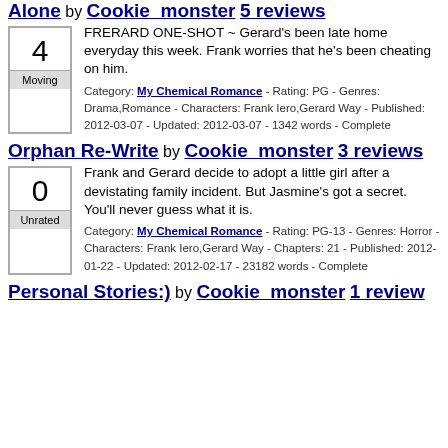Alone by Cookie_monster 5 reviews
FRERARD ONE-SHOT ~ Gerard's been late home everyday this week. Frank worries that he's been cheating on him.
4 Moving
Category: My Chemical Romance - Rating: PG - Genres: Drama,Romance - Characters: Frank Iero,Gerard Way - Published: 2012-03-07 - Updated: 2012-03-07 - 1342 words - Complete
Orphan Re-Write by Cookie_monster 3 reviews
Frank and Gerard decide to adopt a little girl after a devistating family incident. But Jasmine's got a secret. You'll never guess what it is.
0 Unrated
Category: My Chemical Romance - Rating: PG-13 - Genres: Horror - Characters: Frank Iero,Gerard Way - Chapters: 21 - Published: 2012-01-22 - Updated: 2012-02-17 - 23182 words - Complete
Personal Stories:) by Cookie_monster 1 review